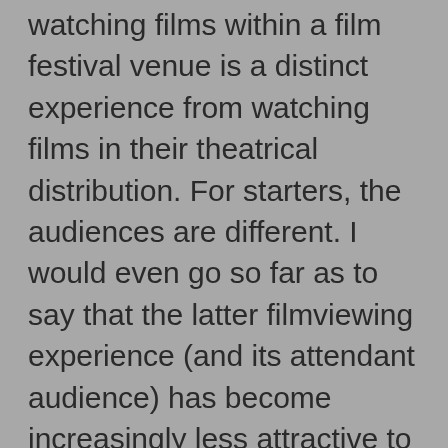watching films within a film festival venue is a distinct experience from watching films in their theatrical distribution. For starters, the audiences are different. I would even go so far as to say that the latter filmviewing experience (and its attendant audience) has become increasingly less attractive to me as time goes on and there are many reasons for that, which I hope to explore in due course. Where there has been much focus on the formal qualities of film production and the evolving nature of film criticism, in my opinion not enough attention has been paid to reception studies and the sociocultural dimensions of global cinema as reflected through film festival culture, in contrast—let's say—to the sociocultural dimension of online discourse about film